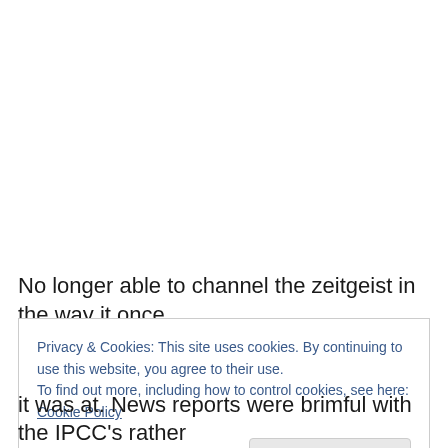No longer able to channel the zeitgeist in the way it once
Privacy & Cookies: This site uses cookies. By continuing to use this website, you agree to their use.
To find out more, including how to control cookies, see here: Cookie Policy
Close and accept
it was at. News reports were brimful with the IPCC's rather